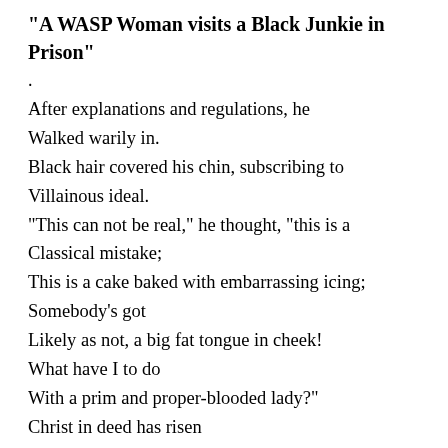“A WASP Woman visits a Black Junkie in Prison”
.
After explanations and regulations, he
Walked warily in.
Black hair covered his chin, subscribing to
Villainous ideal.
“This can not be real,” he thought, “this is a
Classical mistake;
This is a cake baked with embarrassing icing;
Somebody’s got
Likely as not, a big fat tongue in cheek!
What have I to do
With a prim and proper-blooded lady?”
Christ in deed has risen
When a Junkie in prison visits with a WASP woman